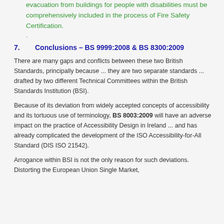evacuation from buildings for people with disabilities must be comprehensively included in the process of Fire Safety Certification.
7.      Conclusions – BS 9999:2008 & BS 8300:2009
There are many gaps and conflicts between these two British Standards, principally because ... they are two separate standards ... drafted by two different Technical Committees within the British Standards Institution (BSI).
Because of its deviation from widely accepted concepts of accessibility and its tortuous use of terminology, BS 8003:2009 will have an adverse impact on the practice of Accessibility Design in Ireland ... and has already complicated the development of the ISO Accessibility-for-All Standard (DIS ISO 21542).
Arrogance within BSI is not the only reason for such deviations.  Distorting the European Union Single Market,